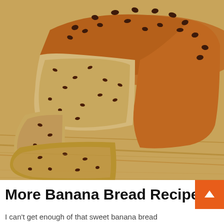[Figure (photo): Close-up photo of a sliced chocolate chip banana bread loaf on a wooden cutting board. The loaf has chocolate chips on top and throughout the interior. Two slices are laid in front of the loaf showing the crumb texture with chocolate chips.]
More Banana Bread Recipe
I can't get enough of that sweet banana bread